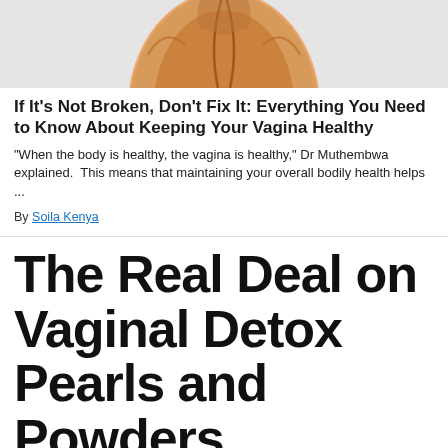[Figure (illustration): Illustrated anatomical diagram showing a cross-section view of a vulva/vagina, drawn in orange and tan tones with a stylized artistic style, on a light gray background]
If It's Not Broken, Don't Fix It: Everything You Need to Know About Keeping Your Vagina Healthy
"When the body is healthy, the vagina is healthy," Dr Muthembwa explained.  This means that maintaining your overall bodily health helps ...
By Soila Kenya
The Real Deal on Vaginal Detox Pearls and Powders